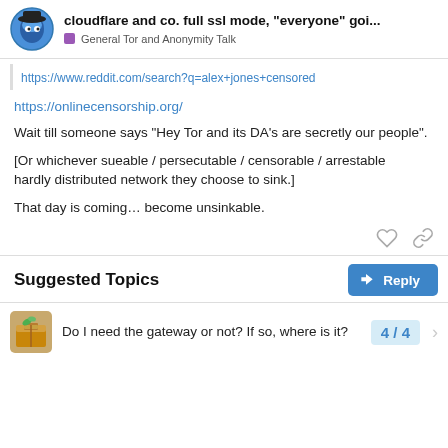cloudflare and co. full ssl mode, "everyone" goi... | General Tor and Anonymity Talk
https://www.reddit.com/search?q=alex+jones+censored
https://onlinecensorship.org/
Wait till someone says "Hey Tor and its DA's are secretly our people".
[Or whichever sueable / persecutable / censorable / arrestable
hardly distributed network they choose to sink.]
That day is coming… become unsinkable.
Suggested Topics
Do I need the gateway or not? If so, where is it?
4 / 4